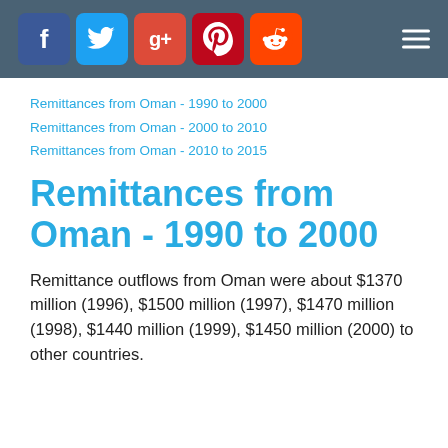Social media icons: Facebook, Twitter, Google+, Pinterest, Reddit; hamburger menu
Remittances from Oman - 1990 to 2000
Remittances from Oman - 2000 to 2010
Remittances from Oman - 2010 to 2015
Remittances from Oman - 1990 to 2000
Remittance outflows from Oman were about $1370 million (1996), $1500 million (1997), $1470 million (1998), $1440 million (1999), $1450 million (2000) to other countries.